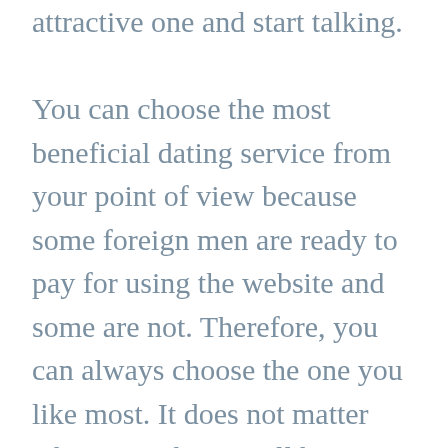attractive one and start talking.

You can choose the most beneficial dating service from your point of view because some foreign men are ready to pay for using the website and some are not. Therefore, you can always choose the one you like most. It does not matter what your choice will be because there will be a lot of Ukrainian ladies for sure.